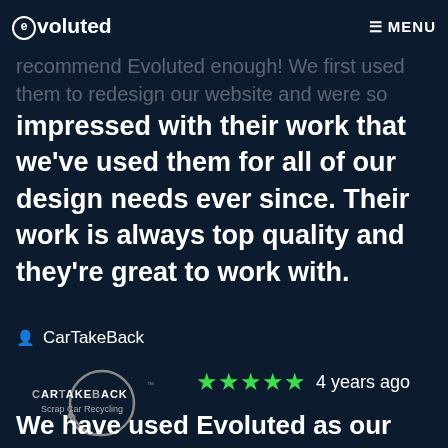evoluted  MENU
recommend Evoluted enough! We first used them to redesign our website and were so impressed with their work that we've used them for all of our design needs ever since. Their work is always top quality and they're great to work with.
CarTakeBack
[Figure (logo): CarTakeBack Scrap Car Recycling logo with circular arrow graphic]
★★★★★  4 years ago
We have used Evoluted as our web developers for over three years - starting when we just